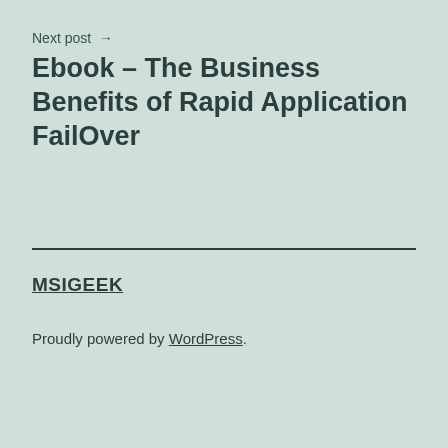Next post →
Ebook – The Business Benefits of Rapid Application FailOver
MSIGEEK
Proudly powered by WordPress.